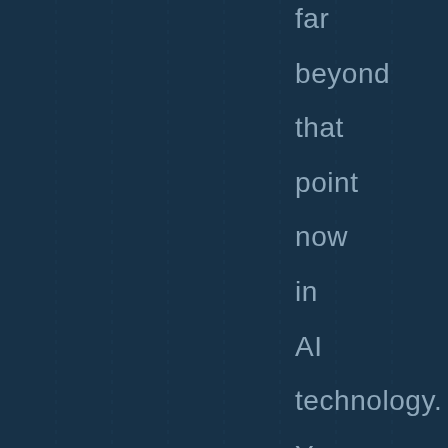far beyond that point now in AI technology. You are now dealing with a pure machine learning capability.